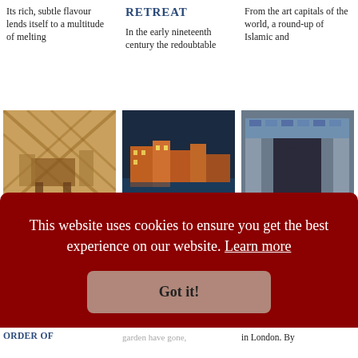Its rich, subtle flavour lends itself to a multitude of melting
RETREAT
In the early nineteenth century the redoubtable
From the art capitals of the world, a round-up of Islamic and
[Figure (photo): Interior of a yurt with furniture and lattice walls]
[Figure (photo): Waterfront buildings at dusk, colourful Ottoman-style houses by water]
[Figure (photo): Ornate Islamic interior with blue and gold tile work]
serves up an irresistible feast.
TRAVELS WITH MY YURT
More cookery
Hatay, close to the present-day Syrian border, planting his
WATER'S EDGE
LEIGHTON'S ORIENT
This website uses cookies to ensure you get the best experience on our website. Learn more
Got it!
ORDER OF
garden have gone,
in London. By